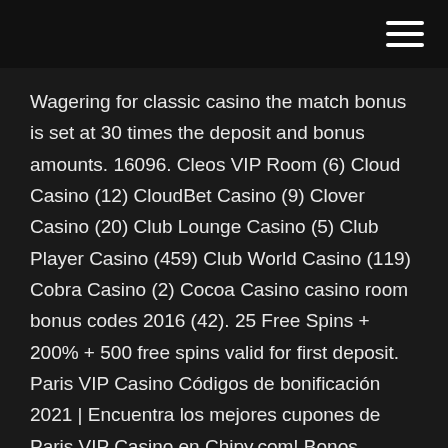Wagering for classic casino the match bonus is set at 30 times the deposit and bonus amounts. 16096. Cleos VIP Room (6) Cloud Casino (12) CloudBet Casino (9) Clover Casino (20) Club Lounge Casino (5) Club Player Casino (459) Club World Casino (119) Cobra Casino (2) Cocoa Casino casino room bonus codes 2016 (42). 25 Free Spins + 200% + 500 free spins valid for first deposit. Paris VIP Casino Códigos de bonificación 2021 | Encuentra los mejores cupones de Paris VIP Casino en Chipy.com! Bonos exclusivos sin depósito, giros gratis y más! 50 Free No Deposit Bonus At Cleos Vip Room Casino 3, 1 free spins bonus at vegas palms casino 6, 38 free chip code for winward casino 2, 10 free no deposit at chips palace casino